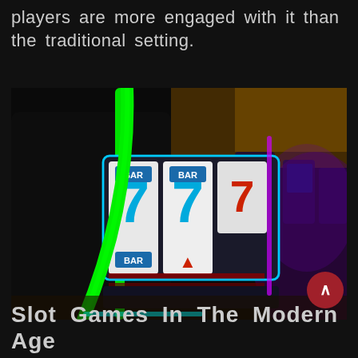players are more engaged with it than the traditional setting.
[Figure (photo): Close-up photo of casino slot machines with glowing green and purple neon lights, showing reels with lucky 7s and BAR symbols, with more machines visible in the background of a casino floor.]
Slot Games In The Modern Age